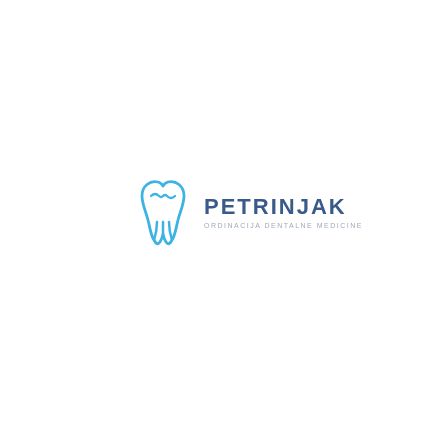[Figure (logo): Petrinjak dental clinic logo: blue tooth outline icon on the left, bold dark blue text 'PETRINJAK' with subtitle 'ORDINACIJA DENTALNE MEDICINE' in light gray on the right. Below the logo is a horizontal divider line with a pink/red accent segment in the middle.]